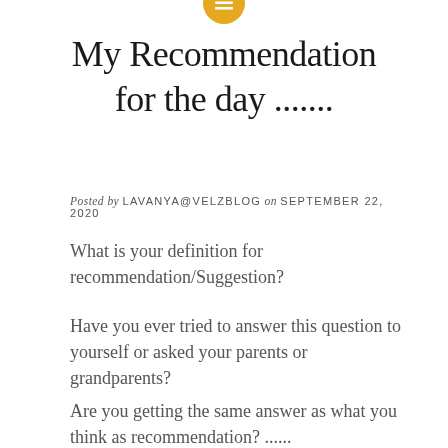[Figure (logo): Yellow/gold circular icon with horizontal lines (menu/list icon) at top center of page]
My Recommendation for the day .......
Posted by LAVANYA@VELZBLOG on SEPTEMBER 22, 2020
What is your definition for recommendation/Suggestion?
Have you ever tried to answer this question to yourself or asked your parents or grandparents?
Are you getting the same answer as what you think as recommendation? ......